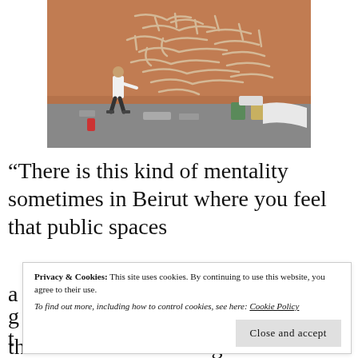[Figure (photo): A person painting large Arabic calligraphy graffiti on an orange/terracotta colored wall. Paint supplies and buckets are visible on the ground.]
“There is this kind of mentality sometimes in Beirut where you feel that public spaces a... g... t...
Privacy & Cookies: This site uses cookies. By continuing to use this website, you agree to their use. To find out more, including how to control cookies, see here: Cookie Policy
Close and accept
them. This is something that I’ve always felt